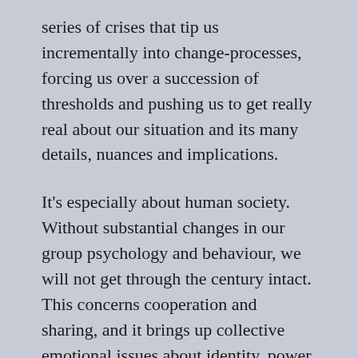series of crises that tip us incrementally into change-processes, forcing us over a succession of thresholds and pushing us to get really real about our situation and its many details, nuances and implications.
It's especially about human society. Without substantial changes in our group psychology and behaviour, we will not get through the century intact. This concerns cooperation and sharing, and it brings up collective emotional issues about identity, power, who decides, and how much we really care about nature and human nature. It concerns Us and Them.
So people across the world are variously